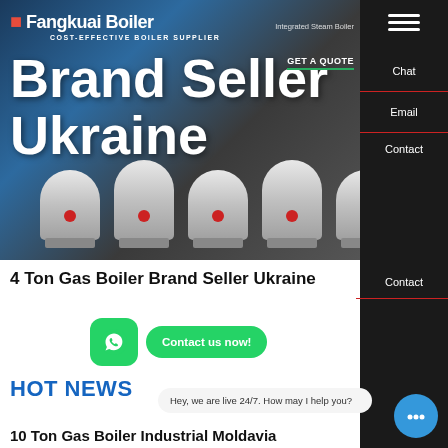[Figure (screenshot): Website hero banner with industrial boilers background image, logo 'Fangkuai Boiler', subtitle 'COST-EFFECTIVE BOILER SUPPLIER', navigation links, and GET A QUOTE button]
Brand Seller Ukraine
4 Ton Gas Boiler Brand Seller Ukraine
[Figure (other): WhatsApp icon button and 'Contact us now!' green button]
HOT NEWS
Hey, we are live 24/7. How may I help you?
10 Ton Gas Boiler Industrial Moldavia